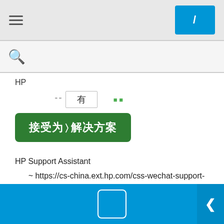[Figure (screenshot): Top navigation bar with hamburger menu on left and blue button with '/' on right, on grey background]
[Figure (screenshot): Search bar with magnifying glass icon on light grey background]
HP
" "  有  " "
[Figure (screenshot): Green button with Chinese text '接受为解决方案' and cursor hand icon]
HP Support Assistant
~ https://cs-china.ext.hp.com/css-wechat-support-api/rest/ice_sys/public/CN/material/2000000010
[Figure (screenshot): Blue wide rectangular button]
[Figure (screenshot): Two outline rounded buttons at bottom]
[Figure (screenshot): Bottom navigation bar in blue with center square button and right chevron]